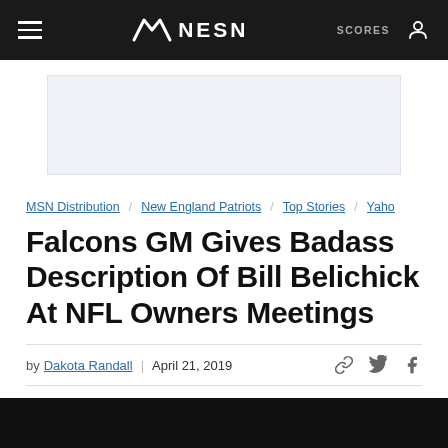NESN | SCORES
[Figure (other): Light blue/grey advertisement banner placeholder]
MSN Distribution  New England Patriots  Top Stories  Yahoo
Falcons GM Gives Badass Description Of Bill Belichick At NFL Owners Meetings
by Dakota Randall | April 21, 2019
[Figure (photo): Black image area at the bottom of the page]